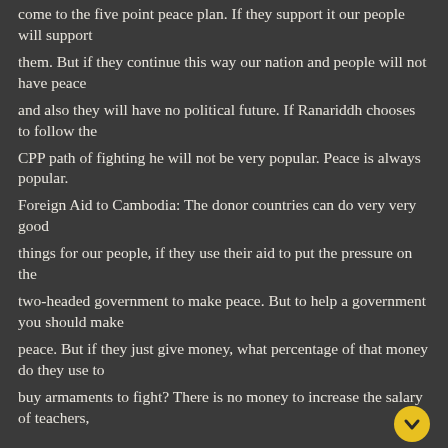come to the five point peace plan. If they support it our people will support
them. But if they continue this way our nation and people will not have peace
and also they will have no political future. If Ranariddh chooses to follow the
CPP path of fighting he will not be very popular. Peace is always popular.
Foreign Aid to Cambodia: The donor countries can do very very good
things for our people, if they use their aid to put the pressure on the
two-headed government to make peace. But to help a government you should make
peace. But if they just give money, what percentage of that money do they use to
buy armaments to fight? There is no money to increase the salary of teachers,